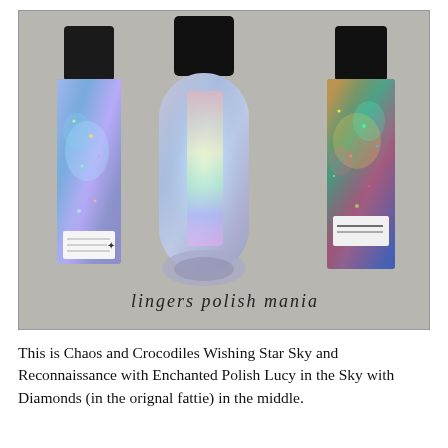[Figure (photo): Three holographic nail polish bottles on a grey textured surface. Left bottle is square-shaped with blue/purple holographic glitter polish and a small white label, middle bottle is a round/cylindrical clear bottle with silver-holographic shimmer, right bottle is square-shaped with dark purple holographic glitter polish and a small white label. All have black caps. Watermark text at bottom reads 'lingers polish mania'.]
This is Chaos and Crocodiles Wishing Star Sky and Reconnaissance with Enchanted Polish Lucy in the Sky with Diamonds (in the orignal fattie) in the middle.